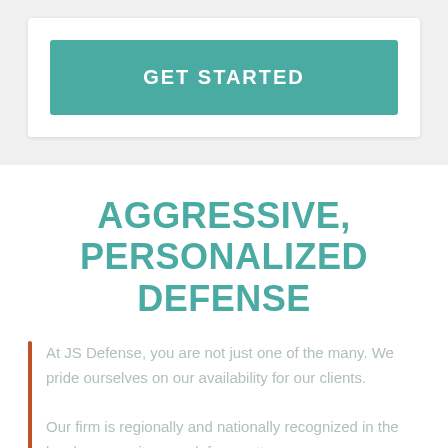[Figure (other): GET STARTED button — teal/green rectangular button inside a white card on a light grey background]
AGGRESSIVE, PERSONALIZED DEFENSE
At JS Defense, you are not just one of the many. We pride ourselves on our availability for our clients. Our firm is regionally and nationally recognized in the local community as a defense attorney...